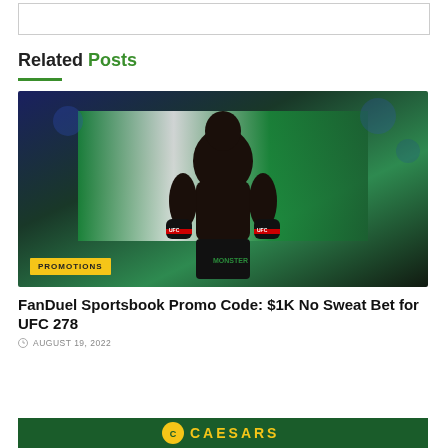[Figure (other): Empty bordered box at top of page]
Related Posts
[Figure (photo): UFC fighter holding Nigerian flag, wearing black UFC gloves with red wrist wraps and Monster Energy UFC shorts, standing in octagon with dark blue arena background. A yellow 'PROMOTIONS' tag overlays the bottom-left corner.]
FanDuel Sportsbook Promo Code: $1K No Sweat Bet for UFC 278
AUGUST 19, 2022
[Figure (logo): Caesars sportsbook banner — dark green background with yellow Caesars logo circle and gold CAESARS text]